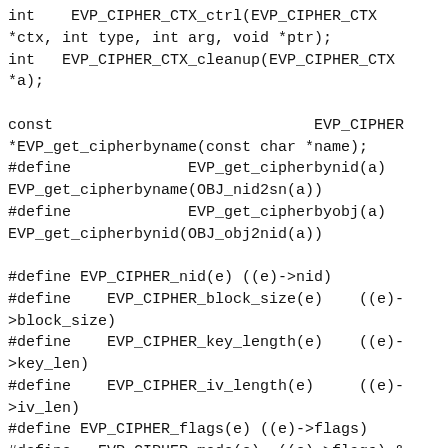int    EVP_CIPHER_CTX_ctrl(EVP_CIPHER_CTX *ctx, int type, int arg, void *ptr);
int   EVP_CIPHER_CTX_cleanup(EVP_CIPHER_CTX *a);

const                          EVP_CIPHER *EVP_get_cipherbyname(const char *name);
#define             EVP_get_cipherbynid(a) EVP_get_cipherbyname(OBJ_nid2sn(a))
#define             EVP_get_cipherbyobj(a) EVP_get_cipherbynid(OBJ_obj2nid(a))

#define EVP_CIPHER_nid(e) ((e)->nid)
#define    EVP_CIPHER_block_size(e)    ((e)->block_size)
#define    EVP_CIPHER_key_length(e)    ((e)->key_len)
#define    EVP_CIPHER_iv_length(e)    ((e)->iv_len)
#define EVP_CIPHER_flags(e) ((e)->flags)
#define   EVP_CIPHER_mode(e)  ((e)->flags) &